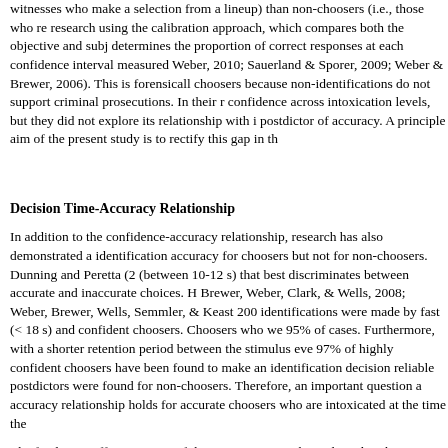witnesses who make a selection from a lineup) than non-choosers (i.e., those who reject the lineup), research using the calibration approach, which compares both the objective and subjective data and determines the proportion of correct responses at each confidence interval measured (e.g., Brewer & Weber, 2010; Sauerland & Sporer, 2009; Weber & Brewer, 2006). This is forensically more relevant for choosers because non-identifications do not support criminal prosecutions. In their research, they found good confidence across intoxication levels, but they did not explore its relationship with identification accuracy as a postdictor of accuracy. A principle aim of the present study is to rectify this gap in the literature.
Decision Time-Accuracy Relationship
In addition to the confidence-accuracy relationship, research has also demonstrated a relationship between identification accuracy for choosers but not for non-choosers. Dunning and Peretta (2002) found a decision time (between 10-12 s) that best discriminates between accurate and inaccurate choices. However, others (e.g., Brewer, Weber, Clark, & Wells, 2008; Weber, Brewer, Wells, Semmler, & Keast 2004) reported that accurate identifications were made by fast (< 18 s) and confident choosers. Choosers who were both were correct in 95% of cases. Furthermore, with a shorter retention period between the stimulus event and lineup task, 97% of highly confident choosers have been found to make an identification decision quickly, although no reliable postdictors were found for non-choosers. Therefore, an important question addressed here is whether this accuracy relationship holds for accurate choosers who are intoxicated at the time they view the lineup.
The final issue affecting some of the previous research conducted in this area concerns studies that have observed an adverse effect of intoxication in the absence of a placebo control. Hence, poorer performance relative to sober counterparts may be driven, at least in part, by alcohol expectancy effects. This is an important issue to examine, and we address it here by examining the effects of alcohol on eyewitness decisions from participants randomly assigned to an alcohol, alcohol-placebo or no-alcohol condition.
To summarise, the main aims of the present study were to investigate the effect of alcohol intoxication and examine whether the previously identified postdictors of decision time, confidence,